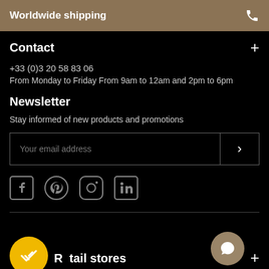Worldwide shipping
Contact
+33 (0)3 20 58 83 06
From Monday to Friday From 9am to 12am and 2pm to 6pm
Newsletter
Stay informed of new products and promotions
Your email address
[Figure (infographic): Social media icons: Facebook, Pinterest, Instagram, LinkedIn]
Retail stores